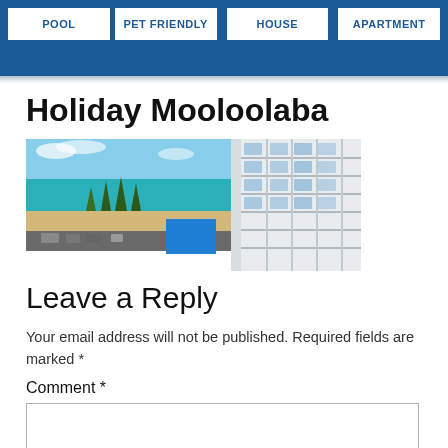POOL | PET FRIENDLY | HOUSE | APARTMENT
Holiday Mooloolaba
[Figure (photo): Aerial/panoramic photograph of Mooloolaba beach and waterfront with turquoise water, sandy beach, pine trees, road with parked cars, and modern white apartment buildings with balconies on the right.]
Leave a Reply
Your email address will not be published. Required fields are marked *
Comment *